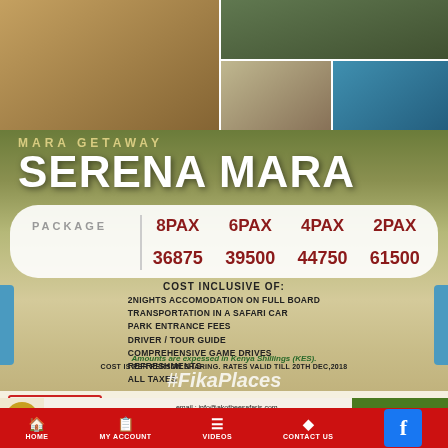[Figure (photo): Photo collage of Serena Mara resort showing hotel exterior, bedroom interior, and pool area]
MARA GETAWAY
SERENA MARA
| PACKAGE | 8PAX | 6PAX | 4PAX | 2PAX |
| --- | --- | --- | --- | --- |
|  | 36875 | 39500 | 44750 | 61500 |
COST INCLUSIVE OF:
2NIGHTS ACCOMODATION ON FULL BOARD
TRANSPORTATION IN A SAFARI CAR
PARK ENTRANCE FEES
DRIVER / TOUR GUIDE
COMPREHENSIVE GAME DRIVES
REFRESHMENTS
ALL TAXES
Amounts are expessed in Kenya Shillings (KES).
COST IS PER PERSON SHARING. RATES VALID TILL 20TH DEC,2018
#FikaPlaces
NA AKOTHEE SAFARIS
email : info@akotheesafaris.com
+254 707 019 960 / 705 396 9960
+254705 397 046
www.akotheesafaris.com
[Figure (photo): United Millers Limited advertisement banner with #MkateNiUnited hashtag]
HOME   MY ACCOUNT   VIDEOS   CONTACT US